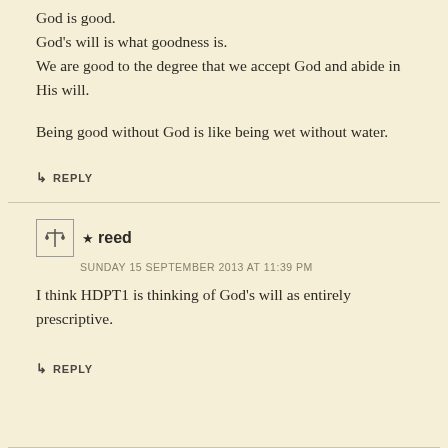God is good.
God's will is what goodness is.
We are good to the degree that we accept God and abide in His will.
Being good without God is like being wet without water.
↳ REPLY
★ reed
SUNDAY 15 SEPTEMBER 2013 AT 11:39 PM
I think HDPT1 is thinking of God's will as entirely prescriptive.
↳ REPLY